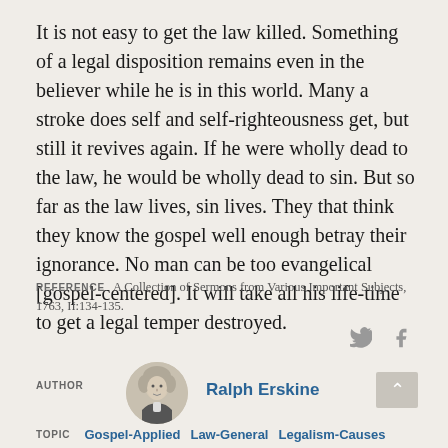It is not easy to get the law killed. Something of a legal disposition remains even in the believer while he is in this world. Many a stroke does self and self-righteousness get, but still it revives again. If he were wholly dead to the law, he would be wholly dead to sin. But so far as the law lives, sin lives. They that think they know the gospel well enough betray their ignorance. No man can be too evangelical [gospel-centered]. It will take all his life-time to get a legal temper destroyed.
REFERENCE   A Collection of Sermons from Various Important Subjects, 1763, II:134-135.
[Figure (other): Author portrait of Ralph Erskine, a circular grayscale portrait image of a man in historical dress]
AUTHOR   Ralph Erskine
TOPIC   Gospel-Applied   Law-General   Legalism-Causes